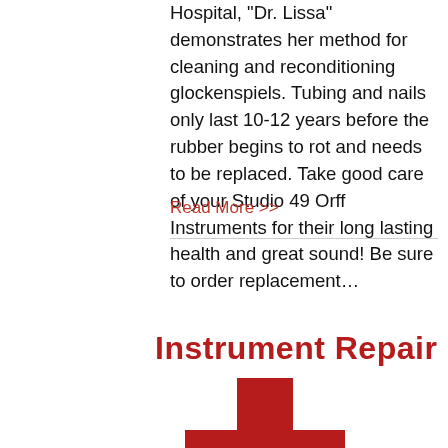Hospital, "Dr. Lissa" demonstrates her method for cleaning and reconditioning glockenspiels. Tubing and nails only last 10-12 years before the rubber begins to rot and needs to be replaced. Take good care of your Studio 49 Orff Instruments for their long lasting health and great sound! Be sure to order replacement…
Read More >>
Instrument Repair
[Figure (illustration): Red medical cross / plus sign icon representing instrument repair]